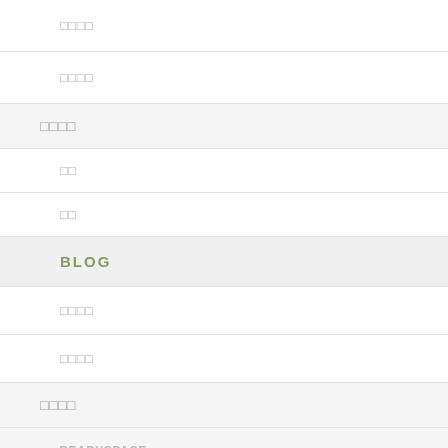□□□□
□□□□
□□□□
□□
□□
BLOG
□□□□
□□□□
□□□□
□□ READYSPACE